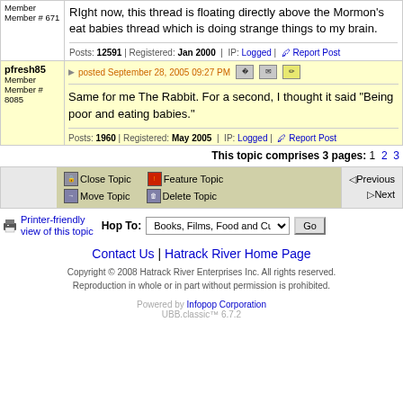Member # 671
RIght now, this thread is floating directly above the Mormon's eat babies thread which is doing strange things to my brain.
Posts: 12591 | Registered: Jan 2000 | IP: Logged | Report Post
pfresh85 Member Member # 8085
posted September 28, 2005 09:27 PM
Same for me The Rabbit. For a second, I thought it said "Being poor and eating babies."
Posts: 1960 | Registered: May 2005 | IP: Logged | Report Post
This topic comprises 3 pages: 1  2  3
Close Topic  Feature Topic  Move Topic  Delete Topic  Previous  Next
Printer-friendly view of this topic  Hop To: Books, Films, Food and Culture  Go
Contact Us | Hatrack River Home Page
Copyright © 2008 Hatrack River Enterprises Inc. All rights reserved. Reproduction in whole or in part without permission is prohibited.
Powered by Infopop Corporation UBB.classic™ 6.7.2